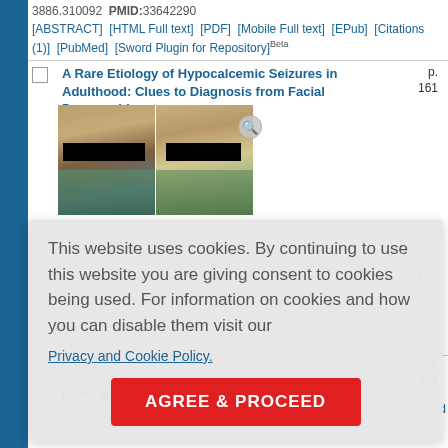3886.310092  PMID:33642290 [ABSTRACT] [HTML Full text] [PDF] [Mobile Full text] [EPub] [Citations (1)] [PubMed] [Sword Plugin for Repository]Beta
[Figure (photo): Two facial photographs of a patient with black bars over the eyes for anonymization. Left photo shows frontal view, right photo shows side profile. Both subjects appear to be middle-aged males.]
A Rare Etiology of Hypocalcemic Seizures in Adulthood: Clues to Diagnosis from Facial Dysmorphism
Nisha Batra, Ravi Kant, Kausik
p. 161
This website uses cookies. By continuing to use this website you are giving consent to cookies being used. For information on cookies and how you can disable them visit our
Privacy and Cookie Policy.
AGREE & PROCEED
p. 164
Kumar Angurana, Venkataseshan